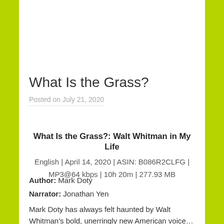What Is the Grass?
Posted on July 21, 2020
What Is the Grass?: Walt Whitman in My Life
English | April 14, 2020 | ASIN: B086R2CLFG | MP3@64 kbps | 10h 20m | 277.93 MB
Author: Mark Doty
Narrator: Jonathan Yen
Mark Doty has always felt haunted by Walt Whitman's bold, unerringly new American voice…